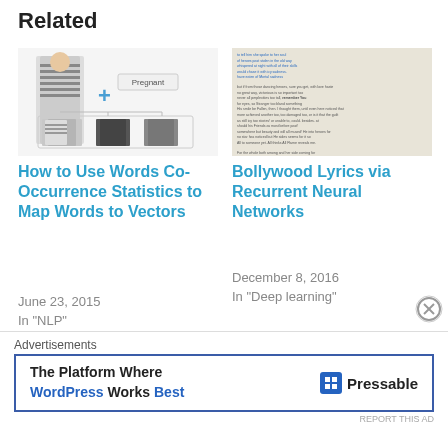Related
[Figure (illustration): Thumbnail showing women's clothing items (striped top, dresses) with a plus sign and 'Pregnant' label, representing a fashion/word vectors article]
How to Use Words Co-Occurrence Statistics to Map Words to Vectors
June 23, 2015
In "NLP"
[Figure (screenshot): Thumbnail showing lines of text/lyrics in blue and gray on a beige background, representing Bollywood lyrics article]
Bollywood Lyrics via Recurrent Neural Networks
December 8, 2016
In "Deep learning"
[Figure (illustration): Thumbnail showing a document collection diagram with arrows labeled Topic Modeling and Document Clustering]
Advertisements
[Figure (infographic): Ad banner: The Platform Where WordPress Works Best — Pressable logo]